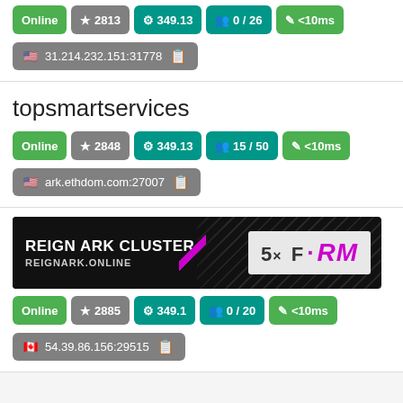Online | ★ 2813 | ⚙ 349.13 | 👥 0 / 26 | 📶 <10ms
🇺🇸 31.214.232.151:31778
topsmartservices
Online | ★ 2848 | ⚙ 349.13 | 👥 15 / 50 | 📶 <10ms
🇺🇸 ark.ethdom.com:27007
[Figure (illustration): REIGN ARK CLUSTER banner — REIGNARK.ONLINE — 5x F·RM branding with diagonal stripe design]
Online | ★ 2885 | ⚙ 349.1 | 👥 0 / 20 | 📶 <10ms
🇨🇦 54.39.86.156:29515